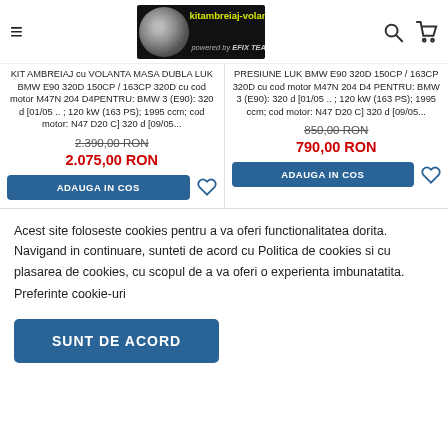kitambreiaj-volanta.ro powered by EFIX TEAM
KIT AMBREIAJ cu VOLANTA MASA DUBLA LUK BMW E90 320D 150CP / 163CP 320D cu cod motor M47N 204 D4PENTRU: BMW 3 (E90): 320 d [01/05 .. ; 120 kW (163 PS); 1995 ccm; cod motor: N47 D20 C] 320 d [09/05...
2.390,00 RON
2.075,00 RON
PRESIUNE LUK BMW E90 320D 150CP / 163CP 320D cu cod motor M47N 204 D4 PENTRU: BMW 3 (E90): 320 d [01/05 .. ; 120 kW (163 PS); 1995 ccm; cod motor: N47 D20 C] 320 d [09/05...
850,00 RON
790,00 RON
Acest site foloseste cookies pentru a va oferi functionalitatea dorita. Navigand in continuare, sunteti de acord cu Politica de cookies si cu plasarea de cookies, cu scopul de a va oferi o experienta imbunatatita. Preferinte cookie-uri